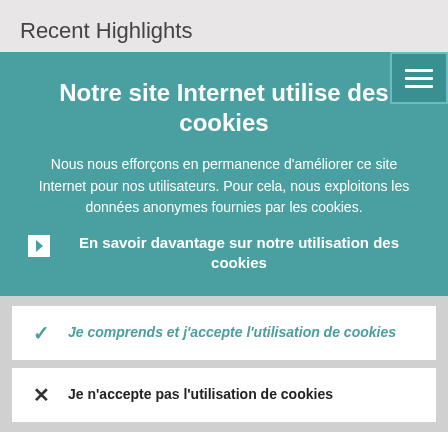Recent Highlights
Notre site Internet utilise des cookies
Nous nous efforçons en permanence d'améliorer ce site Internet pour nos utilisateurs. Pour cela, nous exploitons les données anonymes fournies par les cookies.
En savoir davantage sur notre utilisation des cookies
Je comprends et j'accepte l'utilisation de cookies
Je n'accepte pas l'utilisation de cookies